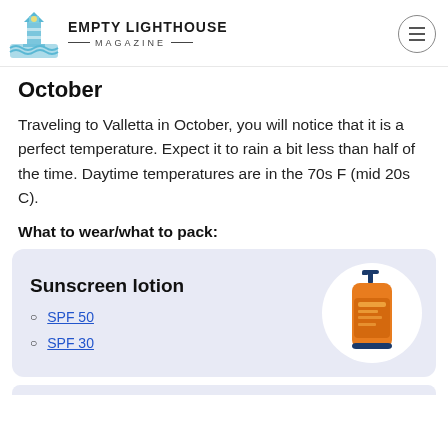EMPTY LIGHTHOUSE MAGAZINE
October
Traveling to Valletta in October, you will notice that it is a perfect temperature. Expect it to rain a bit less than half of the time. Daytime temperatures are in the 70s F (mid 20s C).
What to wear/what to pack:
[Figure (other): Product card for Sunscreen lotion with links to SPF 50 and SPF 30, with an orange sunscreen bottle image on a white circle background.]